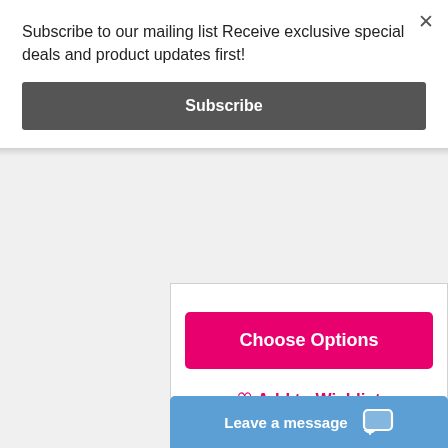Subscribe to our mailing list Receive exclusive special deals and product updates first!
Subscribe
Choose Options
♡ Add to Wishlist
[Figure (illustration): A teal/grey circular product placeholder with a 3D box icon in the center]
Leave a message